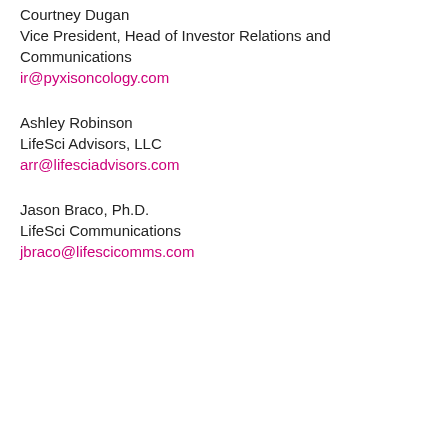Courtney Dugan
Vice President, Head of Investor Relations and Communications
ir@pyxisoncology.com
Ashley Robinson
LifeSci Advisors, LLC
arr@lifesciadvisors.com
Jason Braco, Ph.D.
LifeSci Communications
jbraco@lifescicomms.com